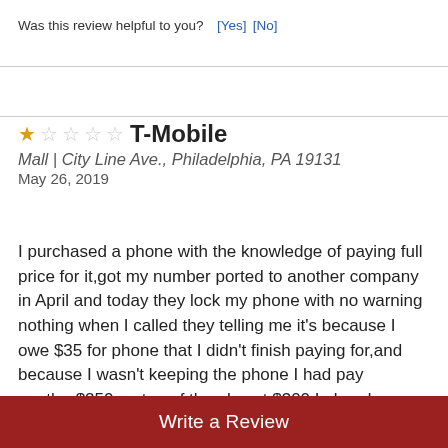Was this review helpful to you? [Yes] [No]
★☆☆☆☆ T-Mobile
Mall | City Line Ave., Philadelphia, PA 19131
May 26, 2019
I purchased a phone with the knowledge of paying full price for it,got my number ported to another company in April and today they lock my phone with no warning nothing when I called they telling me it's because I owe $35 for phone that I didn't finish paying for,and because I wasn't keeping the phone I had pay another$250 on top of the almost $300 I already payed for my phone,I'm getting
Write a Review